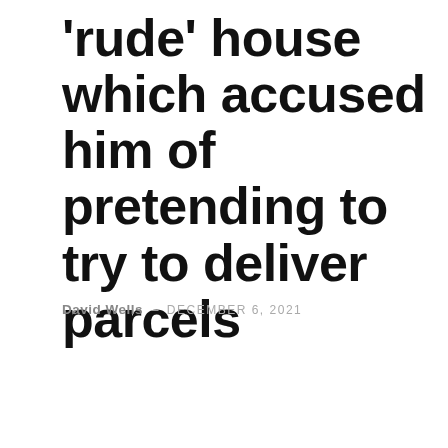'rude' house which accused him of pretending to try to deliver parcels
David Wells – DECEMBER 6, 2021